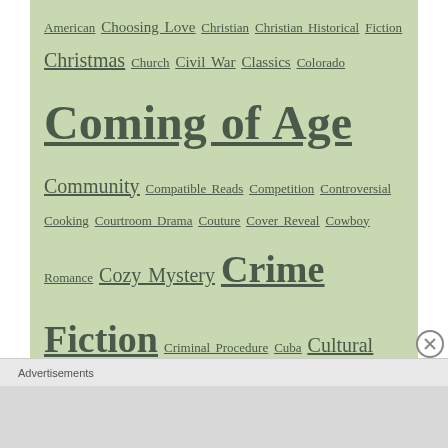American Choosing Love Christian Christian Historical Fiction Christmas Church Civil War Classics Colorado Coming of Age Community Compatible Reads Competition Controversial Cooking Courtroom Drama Couture Cover Reveal Cowboy Romance Cozy Mystery Crime Fiction Criminal Procedure Cuba Cultural Differences Cultural Heritage Debut Authors Denmark Depression Design Detective Detroit Race Riots Digital Reading Discussion Disney Diverse Reads Domestic Life Dust Bowl Education England Entertainment Industry Epistolary Equal Rights Espionage
Advertisements